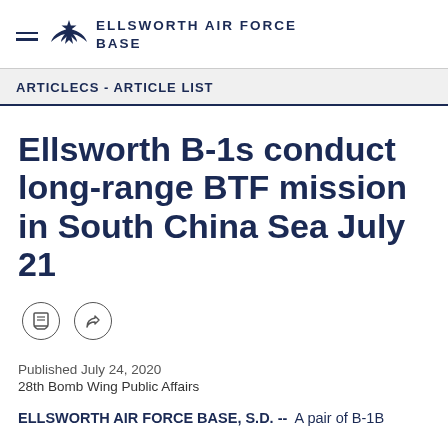ELLSWORTH AIR FORCE BASE
ARTICLECS - ARTICLE LIST
Ellsworth B-1s conduct long-range BTF mission in South China Sea July 21
Published July 24, 2020
28th Bomb Wing Public Affairs
ELLSWORTH AIR FORCE BASE, S.D. -- A pair of B-1B